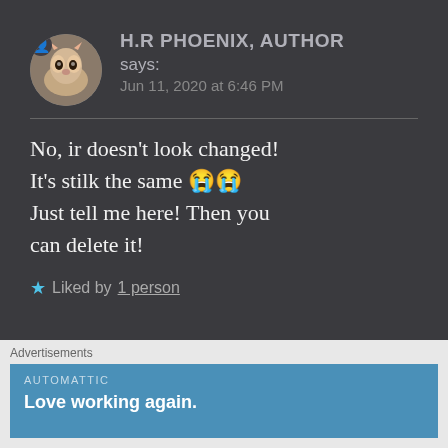H.R PHOENIX, AUTHOR says: Jun 11, 2020 at 6:46 PM
No, ir doesn't look changed! It's stilk the same 😭😭 Just tell me here! Then you can delete it!
★ Liked by 1 person
Advertisements
AUTOMATTIC
Love working again.